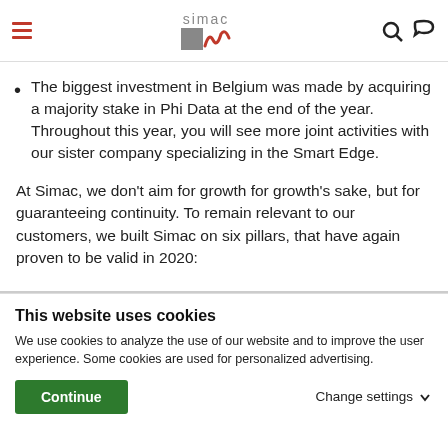simac [logo with square and wave icon] [hamburger menu] [search icon] [chat icon]
The biggest investment in Belgium was made by acquiring a majority stake in Phi Data at the end of the year. Throughout this year, you will see more joint activities with our sister company specializing in the Smart Edge.
At Simac, we don't aim for growth for growth's sake, but for guaranteeing continuity. To remain relevant to our customers, we built Simac on six pillars, that have again proven to be valid in 2020:
This website uses cookies
We use cookies to analyze the use of our website and to improve the user experience. Some cookies are used for personalized advertising.
Continue | Change settings